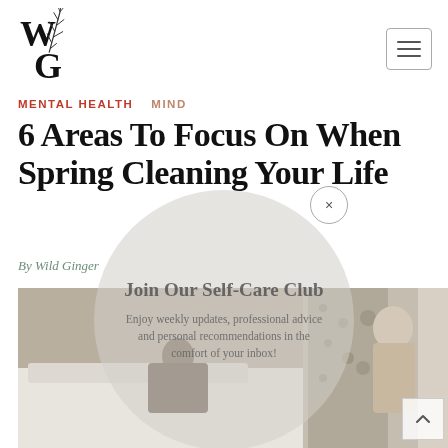[Figure (logo): Wild Ginger logo: stylized W and G letters with botanical leaf illustration]
[Figure (other): Hamburger menu icon (three horizontal lines) in a rounded rectangle border]
MENTAL HEALTH   MIND
6 Areas To Focus On When Spring Cleaning Your Life
By Wild Ginger
[Figure (other): Circular semi-transparent modal overlay with text: Join Our Self-Care Club — Enjoy weekly updates, professional advice and personal recommendations in the comfort of your inbox!]
[Figure (photo): Photograph of a woman making a bed with white linens, with another woman visible in the background near a patterned wall. Scroll-up arrow button visible in bottom right.]